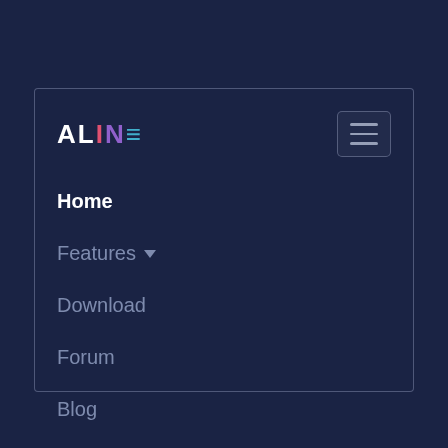[Figure (screenshot): Navigation menu for 'ALINE' website with dark navy background. Contains logo, hamburger menu button, and nav links: Home, Features (with dropdown arrow), Download, Forum, Blog, Documentation.]
Home
Features ▾
Download
Forum
Blog
Documentation